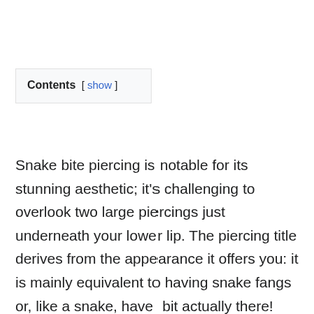| Contents  [ show ] |
Snake bite piercing is notable for its stunning aesthetic; it's challenging to overlook two large piercings just underneath your lower lip. The piercing title derives from the appearance it offers you: it is mainly equivalent to having snake fangs or, like a snake, have  bit actually there!